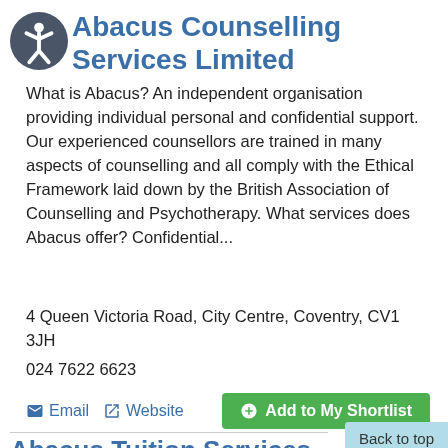Abacus Counselling Services Limited
What is Abacus? An independent organisation providing individual personal and confidential support. Our experienced counsellors are trained in many aspects of counselling and all comply with the Ethical Framework laid down by the British Association of Counselling and Psychotherapy. What services does Abacus offer? Confidential...
4 Queen Victoria Road, City Centre, Coventry, CV1 3JH
024 7622 6623
Email  Website  Add to My Shortlist
Back to top
Abacus Tuition Services...